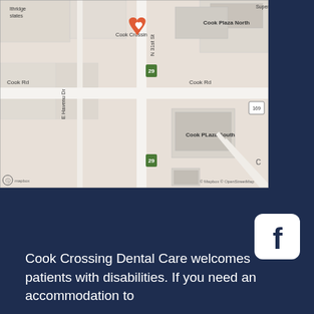[Figure (map): Street map showing Cook Crossing Dental Care location near Cook Rd and N 31st St, with nearby landmarks Cook Plaza North, Cook Plaza South, and a heart-shaped location pin marker. Map by Mapbox and OpenStreetMap.]
[Figure (logo): Facebook logo icon - white letter f on white rounded square background]
Cook Crossing Dental Care welcomes patients with disabilities. If you need an accommodation to